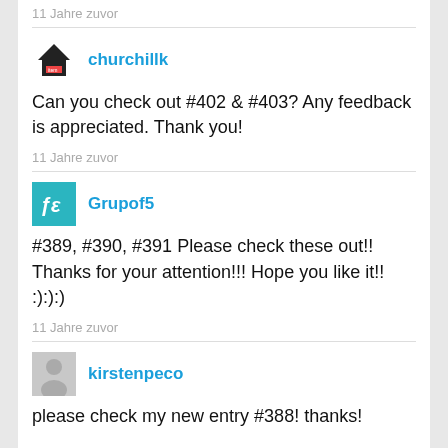11 Jahre zuvor
churchillk
Can you check out #402 & #403? Any feedback is appreciated. Thank you!
11 Jahre zuvor
Grupof5
#389, #390, #391 Please check these out!! Thanks for your attention!!! Hope you like it!! :):):)
11 Jahre zuvor
kirstenpeco
please check my new entry #388! thanks!